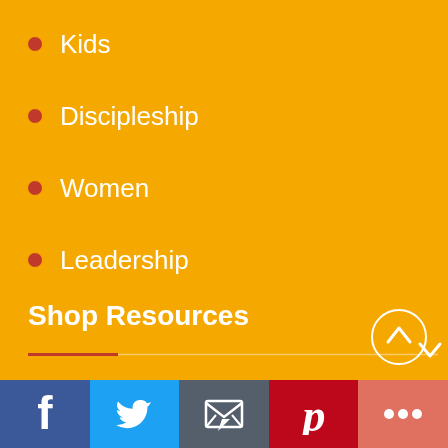Kids
Discipleship
Women
Leadership
Shop Resources
Books
Bibles
Gifts